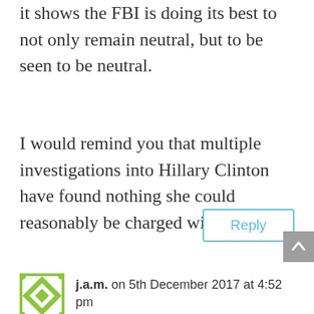it shows the FBI is doing its best to not only remain neutral, but to be seen to be neutral.
I would remind you that multiple investigations into Hillary Clinton have found nothing she could reasonably be charged with.
Reply
[Figure (other): Scroll to top button with upward arrow, grey background]
j.a.m. on 5th December 2017 at 4:52 pm
[Figure (illustration): Green and white square avatar icon with geometric star/diamond pattern]
To the contrary, multiple investigations have found